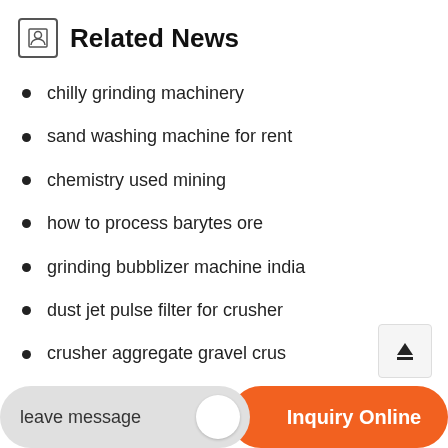Related News
chilly grinding machinery
sand washing machine for rent
chemistry used mining
how to process barytes ore
grinding bubblizer machine india
dust jet pulse filter for crusher
crusher aggregate gravel crus…